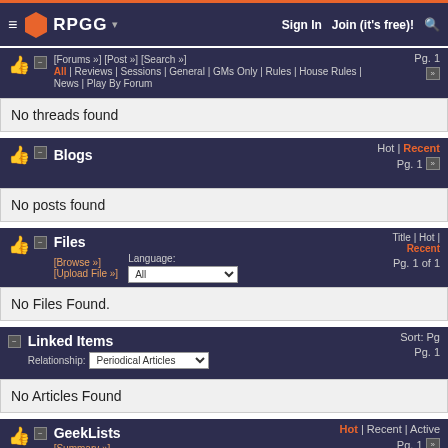RPGG | Sign In | Join (it's free)!
[Forums »] [Post »] [Search »] | All | Reviews | Sessions | General | GMs Only | Rules | House Rules | News | Play By Forum | Pg. 1
No threads found
Blogs | Hot | Recent | Pg. 1
No posts found
Files | Title | Hot | Recent | [Browse »] [Upload File »] | Language: All | Pg. 1 of 1
No Files Found.
Linked Items | Sort: Pg | Relationship: Periodical Articles | Pg. 1
No Articles Found
GeekLists | Hot | Recent | Active | [Summary »] | Pg. 1